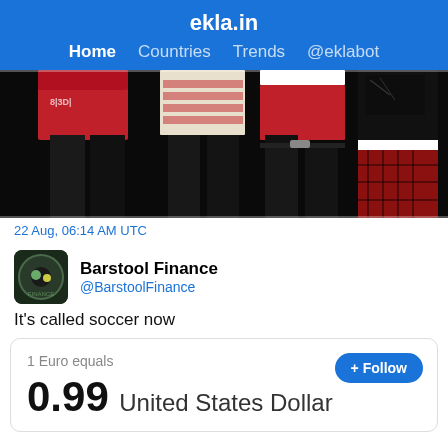ekla.in
Home  Countries  Trends  @eklabot
[Figure (photo): A group of people from waist down wearing various outfits including red sweaters, dark pants, a red plaid skirt, against a black background]
22 Aug, 06:14 AM UTC
Barstool Finance
@BarstoolFinance
It's called soccer now
1 Euro equals
0.99 United States Dollar